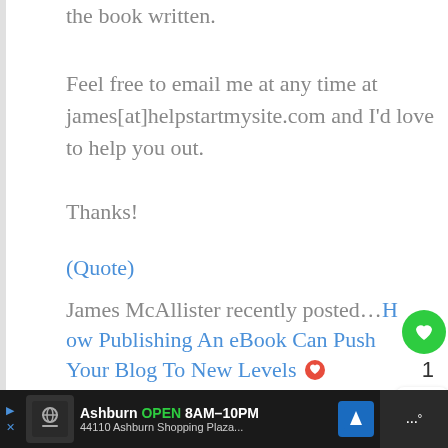the book written.
Feel free to email me at any time at james[at]helpstartmysite.com and I'd love to help you out.
Thanks!
(Quote)
James McAllister recently posted…How Publishing An eBook Can Push Your Blog To New Levels
[Figure (screenshot): What's Next widget showing 'What Is Amazon MK...' with thumbnail]
[Figure (screenshot): Advertisement bar: Ashburn OPEN 8AM-10PM, 44110 Ashburn Shopping Plaza...]